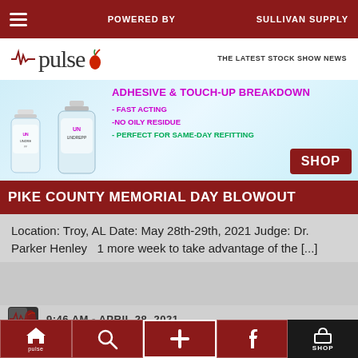POWERED BY   SULLIVAN SUPPLY
[Figure (logo): Pulse logo with chili pepper graphic and tagline 'THE LATEST STOCK SHOW NEWS']
[Figure (infographic): Advertisement banner for Adhesive & Touch-Up Breakdown product. Text: ADHESIVE & TOUCH-UP BREAKDOWN - FAST ACTING -NO OILY RESIDUE - PERFECT FOR SAME-DAY REFITTING. SHOP button.]
PIKE COUNTY MEMORIAL DAY BLOWOUT
Location: Troy, AL Date: May 28th-29th, 2021 Judge: Dr. Parker Henley   1 more week to take advantage of the [...]
9:46 AM - APRIL 28, 2021
SULLIVAN SUPPLY UPCOMING SHOW SCHEDULE
Check out those shows that Sullivan Supply will be
pulse  [search icon]  [plus icon]  [facebook icon]  SHOP